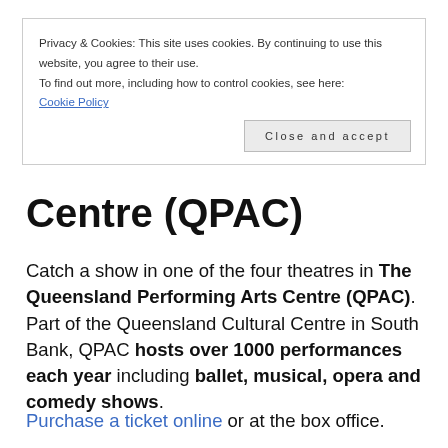Privacy & Cookies: This site uses cookies. By continuing to use this website, you agree to their use.
To find out more, including how to control cookies, see here:
Cookie Policy
Close and accept
Centre (QPAC)
Catch a show in one of the four theatres in The Queensland Performing Arts Centre (QPAC). Part of the Queensland Cultural Centre in South Bank, QPAC hosts over 1000 performances each year including ballet, musical, opera and comedy shows.
Purchase a ticket online or at the box office.